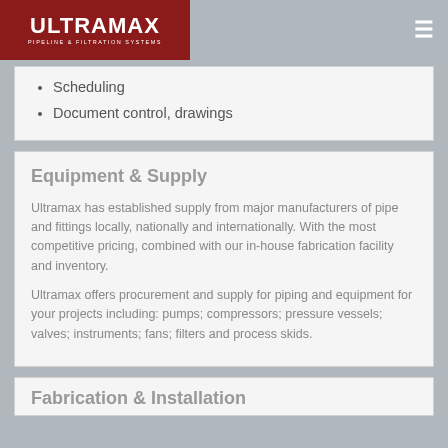ULTRAMAX PIPELINE & FILTRATION SYSTEMS
Scheduling
Document control, drawings
Equipment & Supply
Ultramax has established supply from major manufacturers of pipe and fittings locally, nationally and internationally. With the most competitive pricing, combined with our in-house fabrication facility and inventory.
Ultramax offers procurement and supply for piping and equipment for your projects including: pumps; compressors; pressure vessels; valves; instruments; fans; filters and process skids.
Fabrication & Installation